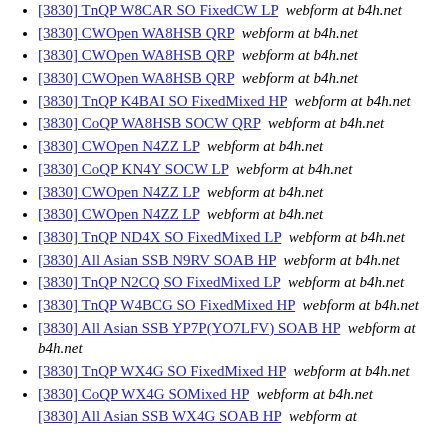[3830] TnQP W8CAR SO FixedCW LP  webform at b4h.net
[3830] CWOpen WA8HSB QRP  webform at b4h.net
[3830] CWOpen WA8HSB QRP  webform at b4h.net
[3830] CWOpen WA8HSB QRP  webform at b4h.net
[3830] TnQP K4BAI SO FixedMixed HP  webform at b4h.net
[3830] CoQP WA8HSB SOCW QRP  webform at b4h.net
[3830] CWOpen N4ZZ LP  webform at b4h.net
[3830] CoQP KN4Y SOCW LP  webform at b4h.net
[3830] CWOpen N4ZZ LP  webform at b4h.net
[3830] CWOpen N4ZZ LP  webform at b4h.net
[3830] TnQP ND4X SO FixedMixed LP  webform at b4h.net
[3830] All Asian SSB N9RV SOAB HP  webform at b4h.net
[3830] TnQP N2CQ SO FixedMixed LP  webform at b4h.net
[3830] TnQP W4BCG SO FixedMixed HP  webform at b4h.net
[3830] All Asian SSB YP7P(YO7LFV) SOAB HP  webform at b4h.net
[3830] TnQP WX4G SO FixedMixed HP  webform at b4h.net
[3830] CoQP WX4G SOMixed HP  webform at b4h.net
[3830] All Asian SSB WX4G SOAB HP  webform at